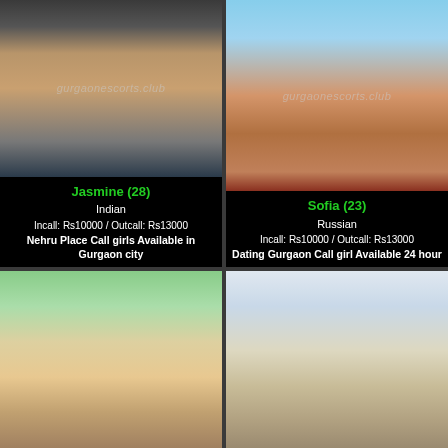[Figure (photo): Photo of Indian woman showing midriff, watermark gurgaonescorts.club]
Jasmine (28)
Indian
Incall: Rs10000 / Outcall: Rs13000
Nehru Place Call girls Available in Gurgaon city
[Figure (photo): Photo of woman in pink outfit outdoors, watermark gurgaonescorts.club]
Sofia (23)
Russian
Incall: Rs10000 / Outcall: Rs13000
Dating Gurgaon Call girl Available 24 hour
[Figure (photo): Close-up photo of blonde woman]
[Figure (photo): Photo of blonde woman near window]